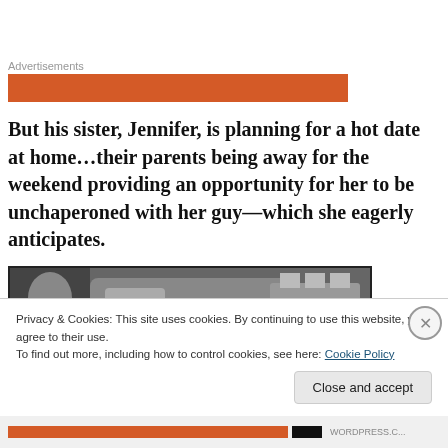Advertisements
[Figure (other): Orange advertisement banner placeholder]
But his sister, Jennifer, is planning for a hot date at home…their parents being away for the weekend providing an opportunity for her to be unchaperoned with her guy—which she eagerly anticipates.
[Figure (photo): Black and white photograph showing a vintage car and architectural element with a figure]
Privacy & Cookies: This site uses cookies. By continuing to use this website, you agree to their use.
To find out more, including how to control cookies, see here: Cookie Policy
Close and accept